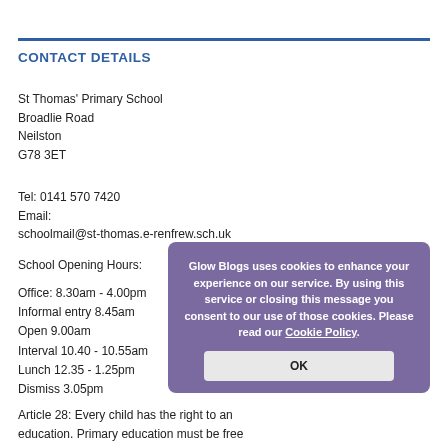CONTACT DETAILS
St Thomas' Primary School
Broadlie Road
Neilston
G78 3ET
Tel: 0141 570 7420
Email:
schoolmail@st-thomas.e-renfrew.sch.uk
School Opening Hours:
Office: 8.30am - 4.00pm
Informal entry 8.45am
Open 9.00am
Interval 10.40 - 10.55am
Lunch 12.35 - 1.25pm
Dismiss 3.05pm
[Figure (screenshot): Cookie consent popup overlay with purple background, text reading 'Glow Blogs uses cookies to enhance your experience on our service. By using this service or closing this message you consent to our use of those cookies. Please read our Cookie Policy.' and an OK button.]
Article 28: Every child has the right to an education. Primary education must be free